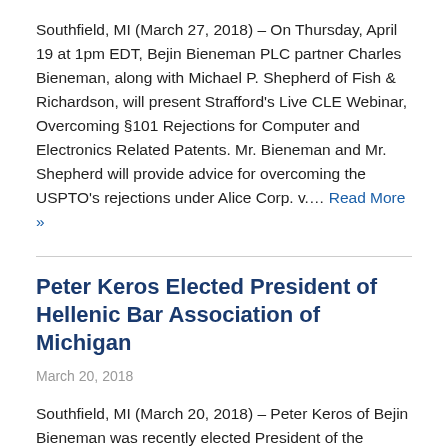Southfield, MI (March 27, 2018) – On Thursday, April 19 at 1pm EDT, Bejin Bieneman PLC partner Charles Bieneman, along with Michael P. Shepherd of Fish & Richardson, will present Strafford's Live CLE Webinar, Overcoming §101 Rejections for Computer and Electronics Related Patents. Mr. Bieneman and Mr. Shepherd will provide advice for overcoming the USPTO's rejections under Alice Corp. v.… Read More »
Peter Keros Elected President of Hellenic Bar Association of Michigan
March 20, 2018
Southfield, MI (March 20, 2018) – Peter Keros of Bejin Bieneman was recently elected President of the Hellenic